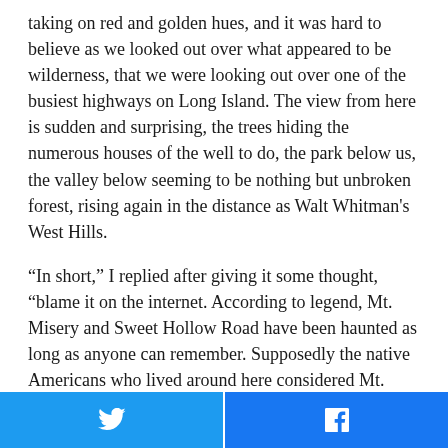taking on red and golden hues, and it was hard to believe as we looked out over what appeared to be wilderness, that we were looking out over one of the busiest highways on Long Island. The view from here is sudden and surprising, the trees hiding the numerous houses of the well to do, the park below us, the valley below seeming to be nothing but unbroken forest, rising again in the distance as Walt Whitman's West Hills.
“In short,” I replied after giving it some thought, “blame it on the internet. According to legend, Mt. Misery and Sweet Hollow Road have been haunted as long as anyone can remember. Supposedly the native Americans who lived around here considered Mt. Misery no man’s land